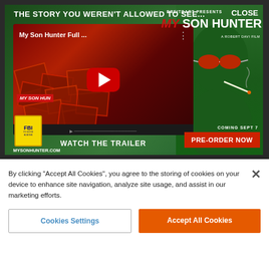[Figure (screenshot): Breitbart 'My Son Hunter' movie advertisement banner with YouTube video thumbnail showing the movie trailer, green-tinted poster with a man wearing red sunglasses smoking, FBI sticker, Pre-order button, and MYSONHUNTER.COM URL]
Why Is This New Cannabis Discovery So Popular With Seniors In Virginia?
By clicking “Accept All Cookies”, you agree to the storing of cookies on your device to enhance site navigation, analyze site usage, and assist in our marketing efforts.
Cookies Settings
Accept All Cookies